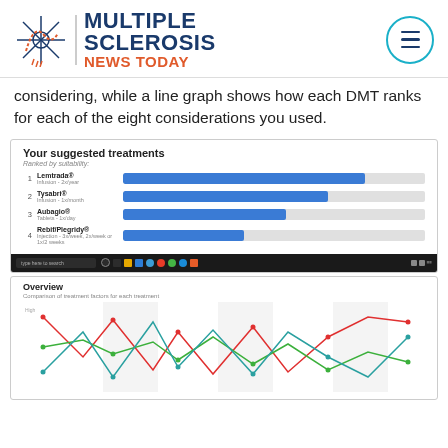[Figure (logo): Multiple Sclerosis News Today logo with snowflake icon and hamburger menu button]
considering, while a line graph shows how each DMT ranks for each of the eight considerations you used.
[Figure (screenshot): Screenshot of 'Your suggested treatments' ranked by suitability with 4 treatments (Lemtrada, Tysabri, Aubagio, Rebif/Plegridy) shown as horizontal bar chart with blue bars of decreasing length]
[Figure (screenshot): Overview section showing a line chart titled 'Comparison of treatment factors for each treatment' with multiple colored lines (red, green, teal) crossing each other across the chart area]